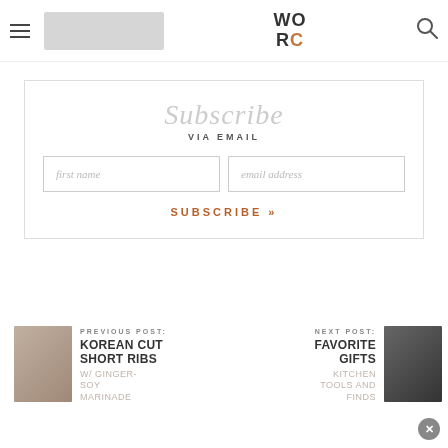WORC (logo) - navigation header with hamburger menu, logo, and search icon
Subscribe VIA EMAIL
first name  email address  SUBSCRIBE »
PREVIOUS POST: KOREAN CUT SHORT RIBS W/ GINGER-SOY MARINADE
NEXT POST: FAVORITE GIFTS KITCHEN TOOLS AND FINDS